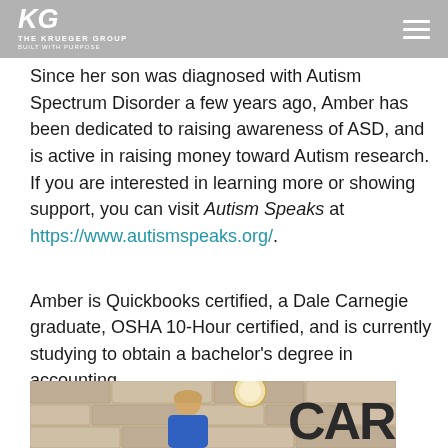THE KRUEGER GROUP — BUILT WITH PURPOSE
Potter series, with her son at bedtime).
Since her son was diagnosed with Autism Spectrum Disorder a few years ago, Amber has been dedicated to raising awareness of ASD, and is active in raising money toward Autism research. If you are interested in learning more or showing support, you can visit Autism Speaks at https://www.autismspeaks.org/.
Amber is Quickbooks certified, a Dale Carnegie graduate, OSHA 10-Hour certified, and is currently studying to obtain a bachelor's degree in accounting.
[Figure (photo): Photo of a smiling woman with long blonde hair wearing a blue top, seated or standing in front of a stone wall with a large 'CAR' sign visible behind her and a round pendant light above.]